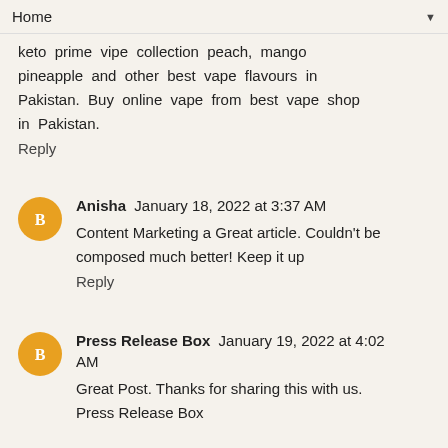Home
keto prime vipe collection peach, mango pineapple and other best vape flavours in Pakistan. Buy online vape from best vape shop in Pakistan.
Reply
Anisha January 18, 2022 at 3:37 AM
Content Marketing a Great article. Couldn't be composed much better! Keep it up
Reply
Press Release Box January 19, 2022 at 4:02 AM
Great Post. Thanks for sharing this with us. Press Release Box